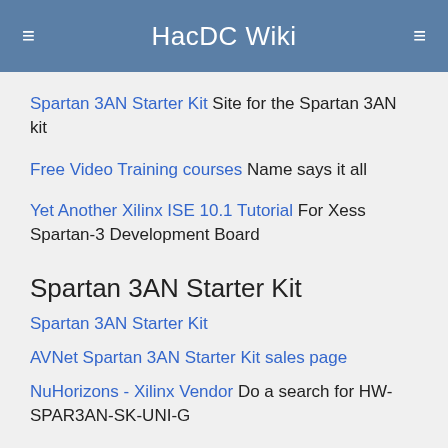HacDC Wiki
Spartan 3AN Starter Kit Site for the Spartan 3AN kit
Free Video Training courses Name says it all
Yet Another Xilinx ISE 10.1 Tutorial For Xess Spartan-3 Development Board
Spartan 3AN Starter Kit
Spartan 3AN Starter Kit
AVNet Spartan 3AN Starter Kit sales page
NuHorizons - Xilinx Vendor Do a search for HW-SPAR3AN-SK-UNI-G